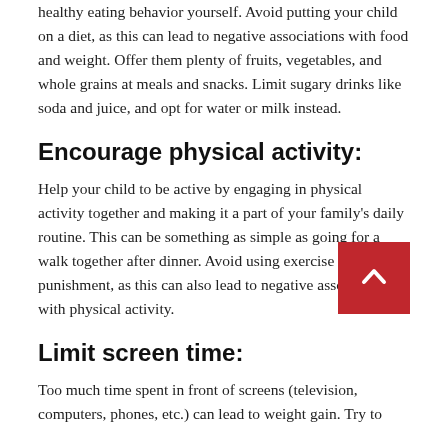healthy eating behavior yourself. Avoid putting your child on a diet, as this can lead to negative associations with food and weight. Offer them plenty of fruits, vegetables, and whole grains at meals and snacks. Limit sugary drinks like soda and juice, and opt for water or milk instead.
Encourage physical activity:
Help your child to be active by engaging in physical activity together and making it a part of your family's daily routine. This can be something as simple as going for a walk together after dinner. Avoid using exercise as a punishment, as this can also lead to negative associations with physical activity.
Limit screen time:
Too much time spent in front of screens (television, computers, phones, etc.) can lead to weight gain. Try to